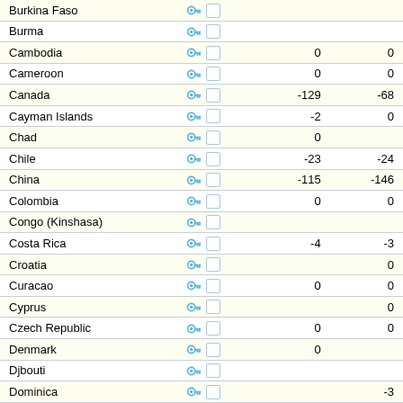| Country |  | Col1 | Col2 |
| --- | --- | --- | --- |
| Burkina Faso |  |  |  |
| Burma |  |  |  |
| Cambodia |  | 0 | 0 |
| Cameroon |  | 0 | 0 |
| Canada |  | -129 | -68 |
| Cayman Islands |  | -2 | 0 |
| Chad |  | 0 |  |
| Chile |  | -23 | -24 |
| China |  | -115 | -146 |
| Colombia |  | 0 | 0 |
| Congo (Kinshasa) |  |  |  |
| Costa Rica |  | -4 | -3 |
| Croatia |  |  | 0 |
| Curacao |  | 0 | 0 |
| Cyprus |  |  | 0 |
| Czech Republic |  | 0 | 0 |
| Denmark |  | 0 |  |
| Djbouti |  |  |  |
| Dominica |  |  | -3 |